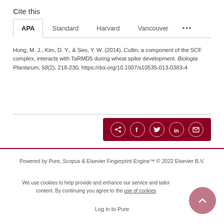Cite this
APA   Standard   Harvard   Vancouver   ...
Hong, M. J., Kim, D. Y., & Seo, Y. W. (2014). Cullin, a component of the SCF complex, interacts with TaRMD5 during wheat spike development. Biologia Plantarum, 58(2), 218-230. https://doi.org/10.1007/s10535-013-0383-4
[Figure (infographic): Share bar with dark red background containing share, Facebook, Twitter, LinkedIn, and email icons]
Powered by Pure, Scopus & Elsevier Fingerprint Engine™ © 2022 Elsevier B.V.
We use cookies to help provide and enhance our service and tailor content. By continuing you agree to the use of cookies
Log in to Pure